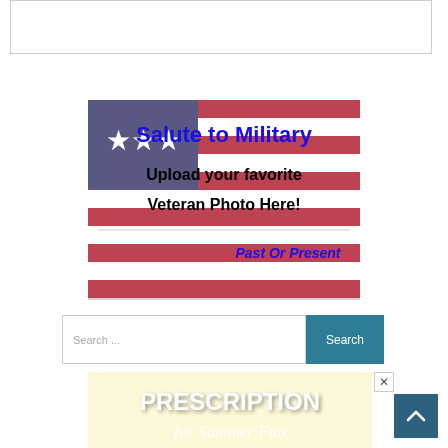[Figure (screenshot): White content area top bar with border]
[Figure (infographic): Salute to Military banner with American flag background. Text: 'Salute to Military' in blue bold, 'Upload your favorite Veteran Photo Here!' in black bold, 'Past Or Present' in blue italic]
[Figure (screenshot): Search bar with text input 'Search ...' and teal 'Search' button]
[Figure (infographic): Advertisement with pale yellow background. Large white text: 'PRESCRIPTION' and italic 'for Summer Fun']